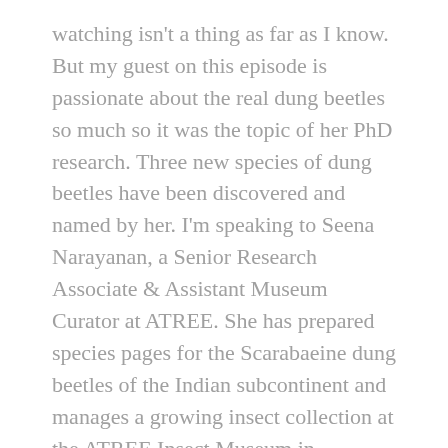watching isn't a thing as far as I know. But my guest on this episode is passionate about the real dung beetles so much so it was the topic of her PhD research. Three new species of dung beetles have been discovered and named by her. I'm speaking to Seena Narayanan, a Senior Research Associate & Assistant Museum Curator at ATREE. She has prepared species pages for the Scarabaeine dung beetles of the Indian subcontinent and manages a growing insect collection at the ATREE Insect Museum in Bangalore. Seena thank you so much for joining me on Heart of Conservation.
0:59
Seena Narayanan: It's a pleasure. Thank you, Lalitha.